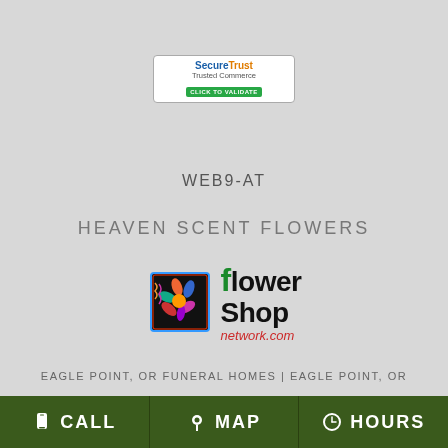[Figure (logo): SecureTrust Trusted Commerce badge - Click to Validate]
WEB9-AT
HEAVEN SCENT FLOWERS
[Figure (logo): Flower Shop Network logo with colorful flower icon and text 'flower Shop network.com']
EAGLE POINT, OR FUNERAL HOMES | EAGLE POINT, OR HOSPITALS | EAGLE POINT, OR WEDDING FLOWER VENDORS
EAGLE POINT, OR WEATHER | OR STATE GOVERNMENT SITE
HEAVEN SCENT FLOWERS
CALL  MAP  HOURS